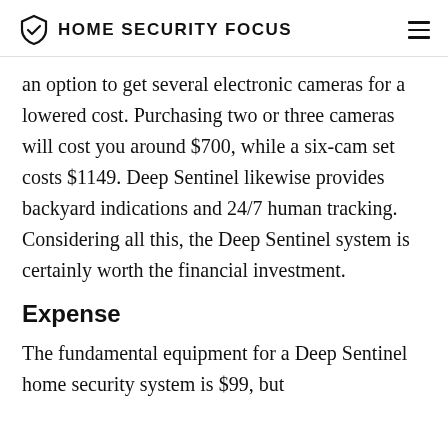HOME SECURITY FOCUS
an option to get several electronic cameras for a lowered cost. Purchasing two or three cameras will cost you around $700, while a six-cam set costs $1149. Deep Sentinel likewise provides backyard indications and 24/7 human tracking. Considering all this, the Deep Sentinel system is certainly worth the financial investment.
Expense
The fundamental equipment for a Deep Sentinel home security system is $99, but